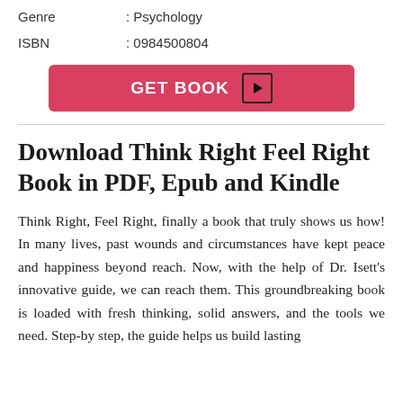| Genre | : Psychology |
| ISBN | : 0984500804 |
[Figure (other): Red button labeled GET BOOK with a play icon]
Download Think Right Feel Right Book in PDF, Epub and Kindle
Think Right, Feel Right, finally a book that truly shows us how! In many lives, past wounds and circumstances have kept peace and happiness beyond reach. Now, with the help of Dr. Isett's innovative guide, we can reach them. This groundbreaking book is loaded with fresh thinking, solid answers, and the tools we need. Step-by step, the guide helps us build lasting